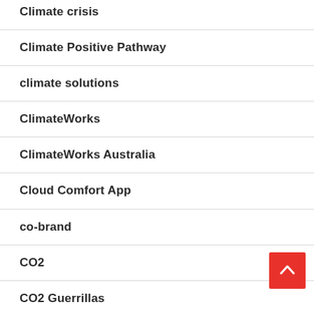Climate crisis
Climate Positive Pathway
climate solutions
ClimateWorks
ClimateWorks Australia
Cloud Comfort App
co-brand
CO2
CO2 Guerrillas